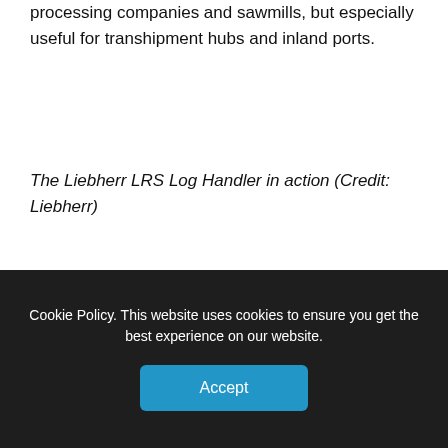processing companies and sawmills, but especially useful for transhipment hubs and inland ports.
The Liebherr LRS Log Handler in action (Credit: Liebherr)
Features of the machine including a stacking height and outreach of over eight metres, as well as a grapple capacity of 8.2 square metre.
Cookie Policy. This website uses cookies to ensure you get the best experience on our website.